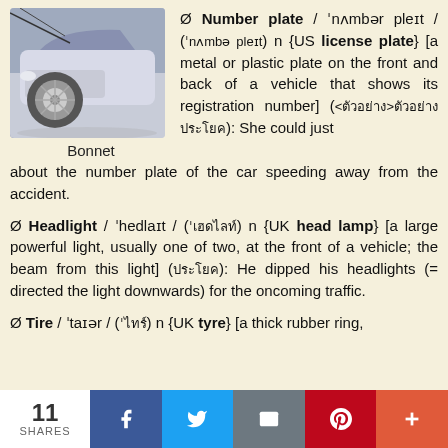[Figure (photo): Photo of the front of a white/silver car showing the bonnet and wheel area]
Bonnet
Ø Number plate / ˈnʌmbər pleɪt / (ˈnʌmbə pleɪt) n {US license plate} [a metal or plastic plate on the front and back of a vehicle that shows its registration number] (<ตัวอย่าง>ตัวอย่าง ประโยค): She could just about the number plate of the car speeding away from the accident.
Ø Headlight / ˈhedlaɪt / (ˈเฮดไลท์) n {UK head lamp} [a large powerful light, usually one of two, at the front of a vehicle; the beam from this light] (ประโยค): He dipped his headlights (= directed the light downwards) for the oncoming traffic.
Ø Tire / ˈtaɪər / (ˈไทร์) n {UK tyre} [a thick rubber ring,